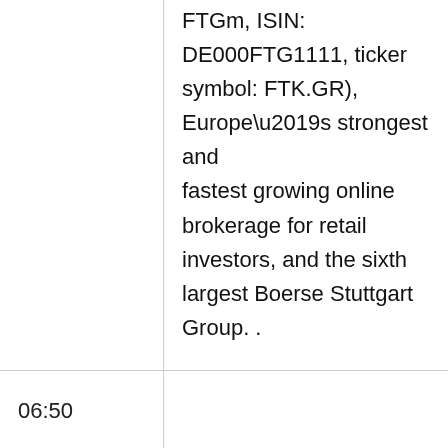| Time | Content |
| --- | --- |
|  | FTGm, ISIN: DE000FTG1111, ticker symbol: FTK.GR), Europe’s strongest and fastest growing online brokerage for retail investors, and the sixth largest Boerse Stuttgart Group. . |
| 06:50 |  |